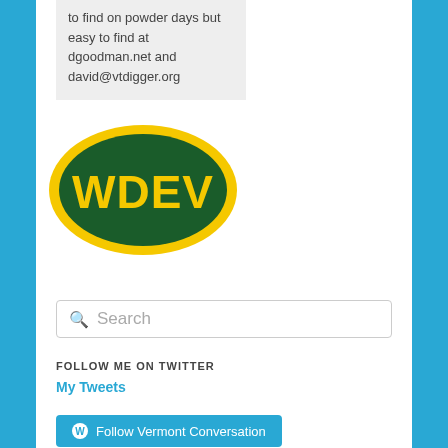to find on powder days but easy to find at dgoodman.net and david@vtdigger.org
[Figure (logo): WDEV radio station logo — yellow text 'WDEV' on dark green oval with yellow border]
Search
FOLLOW ME ON TWITTER
My Tweets
Follow Vermont Conversation